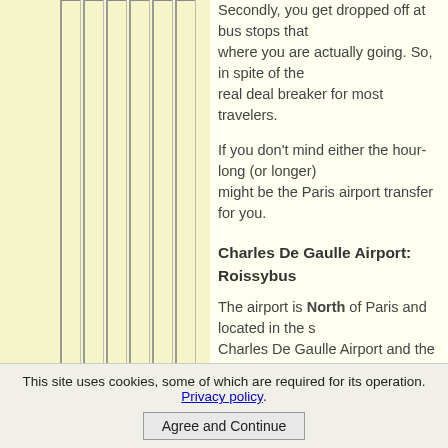Secondly, you get dropped off at bus stops that ... where you are actually going. So, in spite of the ... real deal breaker for most travelers.
If you don't mind either the hour-long (or longer) ... might be the Paris airport transfer for you.
Charles De Gaulle Airport: Roissybus
The airport is North of Paris and located in the s... Charles De Gaulle Airport and the Paris Opera fr... bus leaves every 15 to 20 minutes from Terminal... minutes and costs €10 one way.
Going to Charles De Gaulle Airport, drop-off will b... For Terminal 2A-2C : Entrance A9
For Terminal 2D-2B : Entrance D11
Terminal 2G is linked to Terminal 2C (Entrance 4...
- Commuter buses:
Line 350 provides a link between Charles De Ga... and Metro hub).
This site uses cookies, some of which are required for its operation. Privacy policy